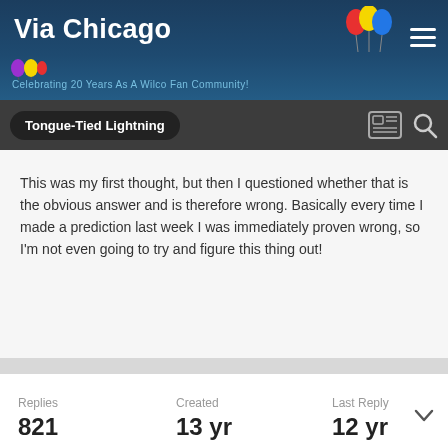Via Chicago – Celebrating 20 Years As A Wilco Fan Community!
Tongue-Tied Lightning
This was my first thought, but then I questioned whether that is the obvious answer and is therefore wrong. Basically every time I made a prediction last week I was immediately proven wrong, so I'm not even going to try and figure this thing out!
Replies 821  Created 13 yr  Last Reply 12 yr
Guest Gym Teacher Man
Posted January 26, 2009